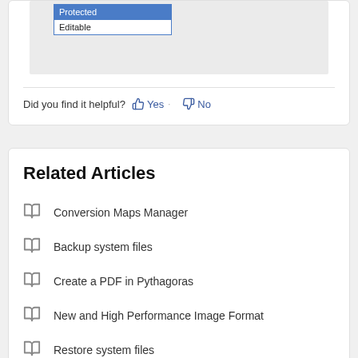[Figure (screenshot): Dropdown UI showing 'Protected' selected in blue and 'Editable' below it, on a grey background]
Did you find it helpful? Yes No
Related Articles
Conversion Maps Manager
Backup system files
Create a PDF in Pythagoras
New and High Performance Image Format
Restore system files
Design Tools: Polyline relative to Path